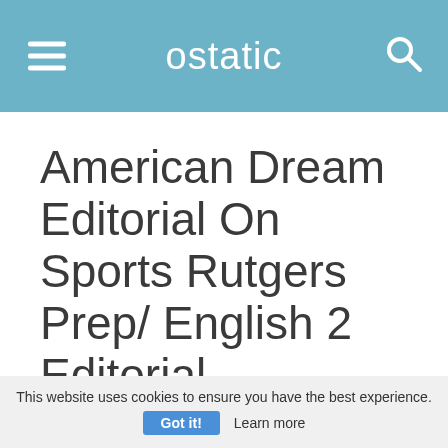ostatic
American Dream Editorial On Sports Rutgers Prep/ English 2 Editorial
911 words - 4 pages
Troy Patterson
This website uses cookies to ensure you have the best experience. Got it! Learn more